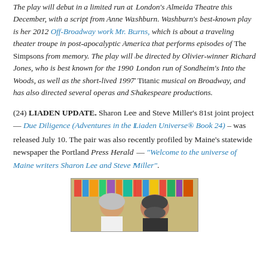The play will debut in a limited run at London's Almeida Theatre this December, with a script from Anne Washburn. Washburn's best-known play is her 2012 Off-Broadway work Mr. Burns, which is about a traveling theater troupe in post-apocalyptic America that performs episodes of The Simpsons from memory. The play will be directed by Olivier-winner Richard Jones, who is best known for the 1990 London run of Sondheim's Into the Woods, as well as the short-lived 1997 Titanic musical on Broadway, and has also directed several operas and Shakespeare productions.
(24) LIADEN UPDATE. Sharon Lee and Steve Miller's 81st joint project — Due Diligence (Adventures in the Liaden Universe® Book 24) – was released July 10. The pair was also recently profiled by Maine's statewide newspaper the Portland Press Herald — "Welcome to the universe of Maine writers Sharon Lee and Steve Miller".
[Figure (photo): Photo of two people, likely Sharon Lee and Steve Miller, standing in front of a bookshelf with colorful books.]